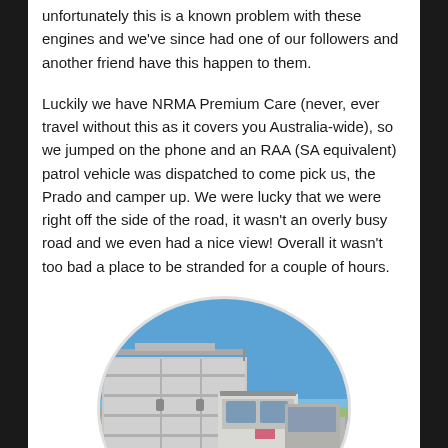unfortunately this is a known problem with these engines and we've since had one of our followers and another friend have this happen to them.
Luckily we have NRMA Premium Care (never, ever travel without this as it covers you Australia-wide), so we jumped on the phone and an RAA (SA equivalent) patrol vehicle was dispatched to come pick us, the Prado and camper up. We were lucky that we were right off the side of the road, it wasn't an overly busy road and we even had a nice view! Overall it wasn't too bad a place to be stranded for a couple of hours.
[Figure (photo): Circular photo showing vehicles including a camper/trailer with checker-plate aluminium toolboxes pulled over on the side of a road in an arid Australian landscape under a clear blue sky.]